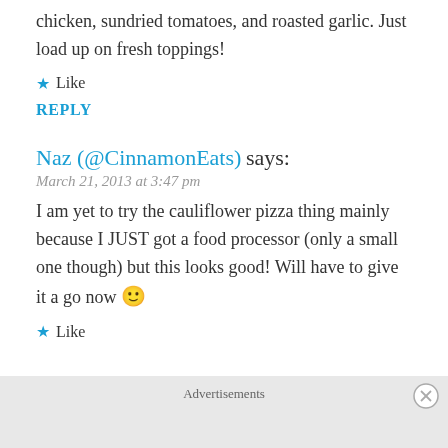chicken, sundried tomatoes, and roasted garlic. Just load up on fresh toppings!
★ Like
REPLY
Naz (@CinnamonEats) says:
March 21, 2013 at 3:47 pm
I am yet to try the cauliflower pizza thing mainly because I JUST got a food processor (only a small one though) but this looks good! Will have to give it a go now 🙂
★ Like
Advertisements